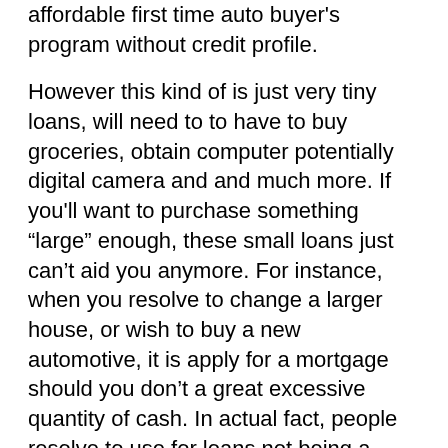affordable first time auto buyer's program without credit profile.
However this kind of is just very tiny loans, will need to to have to buy groceries, obtain computer potentially digital camera and and much more. If you'll want to purchase something “large” enough, these small loans just can’t aid you anymore. For instance, when you resolve to change a larger house, or wish to buy a new automotive, it is apply for a mortgage should you don’t a great excessive quantity of cash. In actual fact, people resolve to use for loans not being a result of they don’t have enough cash, are generally they simply need to lighten the financial burden in daily everyday life. They’ll choose to cover loans by instalments.